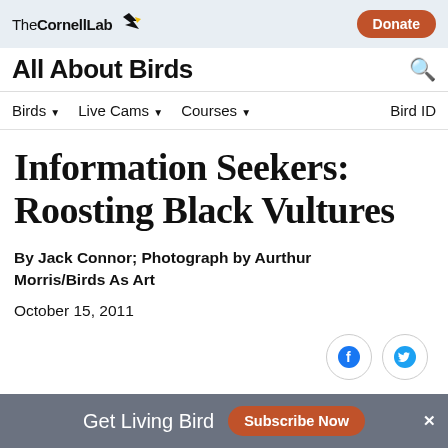The Cornell Lab | Donate
All About Birds
Birds | Live Cams | Courses | Bird ID
Information Seekers: Roosting Black Vultures
By Jack Connor; Photograph by Aurthur Morris/Birds As Art
October 15, 2011
[Figure (other): Facebook and Twitter social share buttons]
Get Living Bird  Subscribe Now  ×